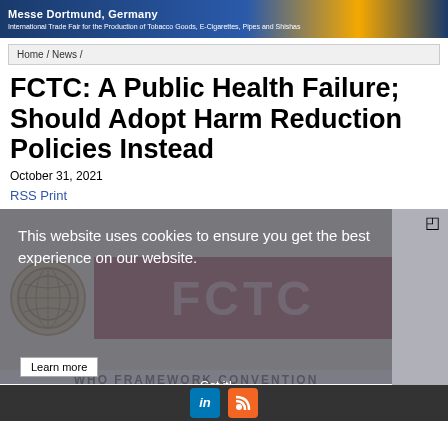[Figure (illustration): Banner for an international trade fair for tobacco goods, e-cigarettes, pipes and shishas. Dark blue background with gold accent stripe.]
Home / News /
FCTC: A Public Health Failure; Should Adopt Harm Reduction Policies Instead
October 31, 2021
RSS Print
[Figure (screenshot): Cookie consent overlay on top of an image showing the WHO FCTC (Framework Convention on Tobacco Control) logo. Overlay text: 'This website uses cookies to ensure you get the best experience on our website.' with 'Learn more' and 'Got it!' buttons.]